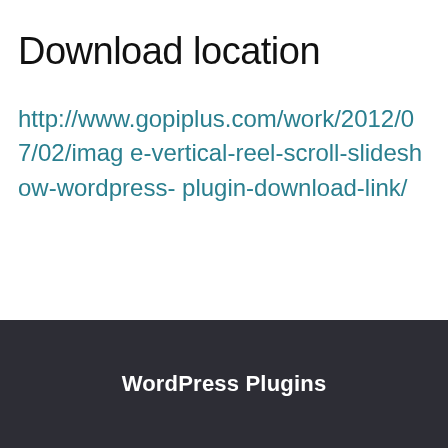Download location
http://www.gopiplus.com/work/2012/07/02/image-vertical-reel-scroll-slideshow-wordpress-plugin-download-link/
WordPress Plugins